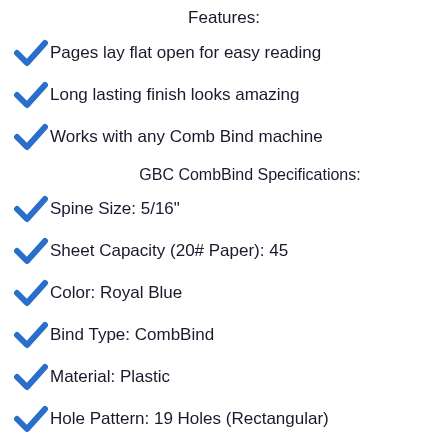Features:
Pages lay flat open for easy reading
Long lasting finish looks amazing
Works with any Comb Bind machine
GBC CombBind Specifications:
Spine Size: 5/16"
Sheet Capacity (20# Paper): 45
Color: Royal Blue
Bind Type: CombBind
Material: Plastic
Hole Pattern: 19 Holes (Rectangular)
These GBC Comb Spines are also known by other names including: GBC Spiral Comb Binds, Plastic Loop